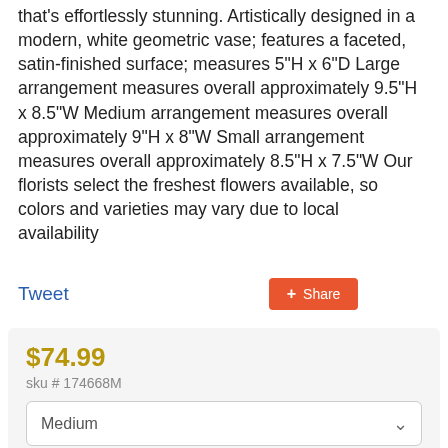that's effortlessly stunning. Artistically designed in a modern, white geometric vase; features a faceted, satin-finished surface; measures 5"H x 6"D Large arrangement measures overall approximately 9.5"H x 8.5"W Medium arrangement measures overall approximately 9"H x 8"W Small arrangement measures overall approximately 8.5"H x 7.5"W Our florists select the freshest flowers available, so colors and varieties may vary due to local availability
Tweet
Share
$74.99
sku # 174668M
Medium
Order by 4:30 PM EST for same day pickup or delivery!
Delivery or Pickup?